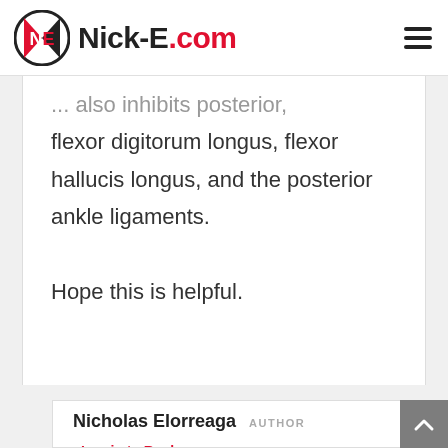Nick-E.com
... also inhibits posterior flexor digitorum longus, flexor hallucis longus, and the posterior ankle ligaments. Hope this is helpful.
Nicholas Elorreaga AUTHOR
· Log in to Reply July 29, 2016 at 5:27